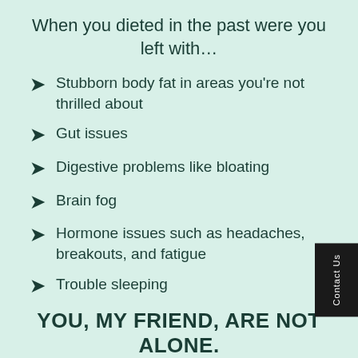When you dieted in the past were you left with…
Stubborn body fat in areas you're not thrilled about
Gut issues
Digestive problems like bloating
Brain fog
Hormone issues such as headaches, breakouts, and fatigue
Trouble sleeping
YOU, MY FRIEND, ARE NOT ALONE.
In fact, those are the most common symptoms we've been able to help thousands of people